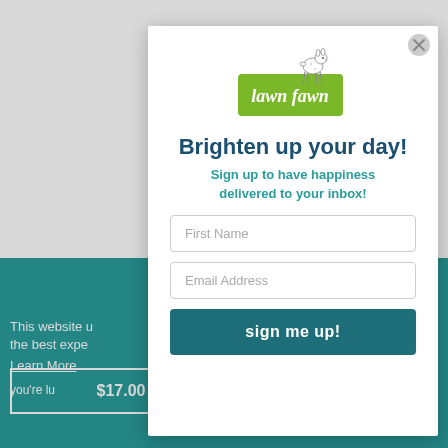[Figure (screenshot): Background page with teal/white sections and partial product listing]
[Figure (screenshot): Popup modal overlay for Lawn Fawn email signup]
Brighten up your day!
Sign up to have happiness delivered to your inbox!
First Name
Email Address
sign me up!